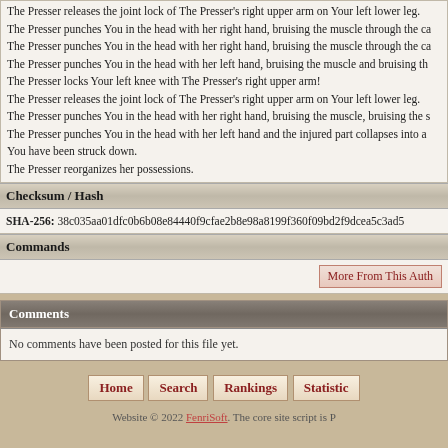The Presser releases the joint lock of The Presser's right upper arm on Your left lower leg. The Presser punches You in the head with her right hand, bruising the muscle through the ca... The Presser punches You in the head with her right hand, bruising the muscle through the ca... The Presser punches You in the head with her left hand, bruising the muscle and bruising th... The Presser locks Your left knee with The Presser's right upper arm! The Presser releases the joint lock of The Presser's right upper arm on Your left lower leg. The Presser punches You in the head with her right hand, bruising the muscle, bruising the s... The Presser punches You in the head with her left hand and the injured part collapses into a... You have been struck down. The Presser reorganizes her possessions.
Checksum / Hash
SHA-256: 38c035aa01dfc0b6b08e84440f9cfae2b8e98a8199f360f09bd2f9dcea5c3ad5
Commands
More From This Auth
Comments
No comments have been posted for this file yet.
Home  Search  Rankings  Statistics  Website © 2022 FenriSoft. The core site script is P...